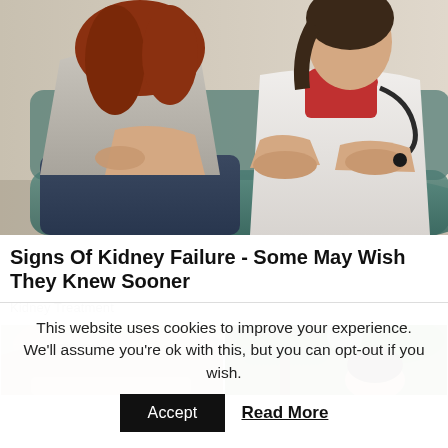[Figure (photo): Doctor in white coat examining a patient's back. Patient is a woman with red hair seen from behind, sitting on a teal couch, holding her lower back. Doctor presses on her back with both hands. Doctor wears a red turtleneck under white coat with stethoscope.]
Signs Of Kidney Failure - Some May Wish They Knew Sooner
Kidney Treatment
[Figure (photo): Two thumbnail images side by side: left shows close-up of a person's hair/head (blonde), right shows a person with dark hair outdoors near trees.]
This website uses cookies to improve your experience. We'll assume you're ok with this, but you can opt-out if you wish.